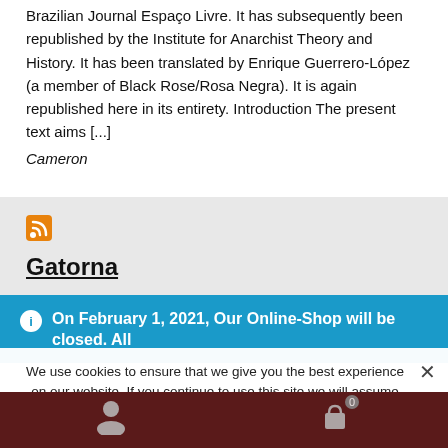Brazilian Journal Espaço Livre. It has subsequently been republished by the Institute for Anarchist Theory and History. It has been translated by Enrique Guerrero-López (a member of Black Rose/Rosa Negra). It is again republished here in its entirety. Introduction The present text aims [...]
Cameron
Gatorna
On February 1, 2021, Our Online-Shop will be closed. All orders until January 31 will be delivered
Dismiss
We use cookies to ensure that we give you the best experience on our website. If you continue to use this site we will assume that you are happy with it.